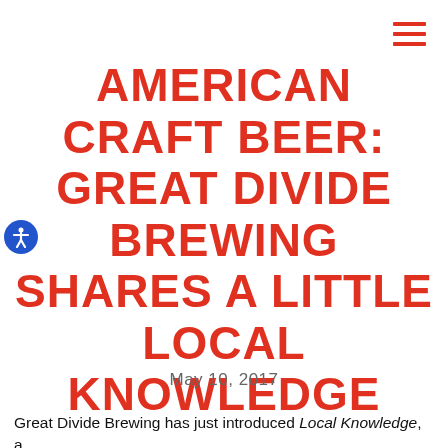AMERICAN CRAFT BEER: GREAT DIVIDE BREWING SHARES A LITTLE LOCAL KNOWLEDGE
May 10, 2017
Great Divide Brewing has just introduced Local Knowledge, a